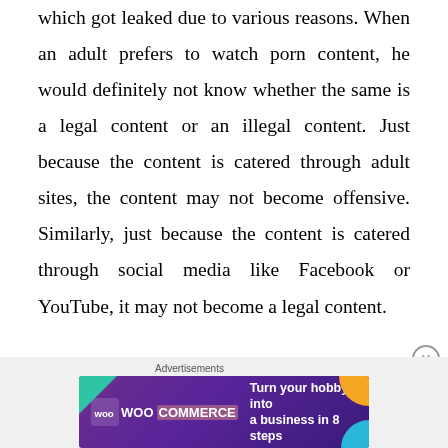which got leaked due to various reasons. When an adult prefers to watch porn content, he would definitely not know whether the same is a legal content or an illegal content. Just because the content is catered through adult sites, the content may not become offensive. Similarly, just because the content is catered through social media like Facebook or YouTube, it may not become a legal content.
[Figure (other): WooCommerce advertisement banner: 'Turn your hobby into a business in 8 steps' on purple background with decorative geometric shapes]